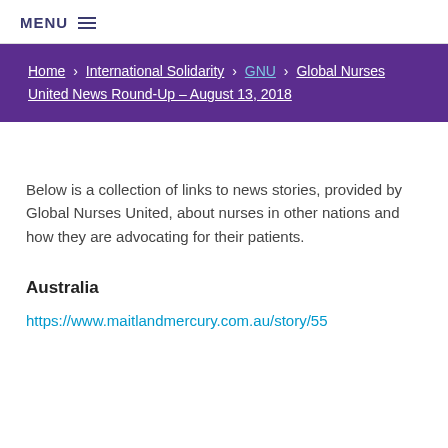MENU ≡
Home > International Solidarity > GNU > Global Nurses United News Round-Up – August 13, 2018
Below is a collection of links to news stories, provided by Global Nurses United, about nurses in other nations and how they are advocating for their patients.
Australia
https://www.maitlandmercury.com.au/story/55